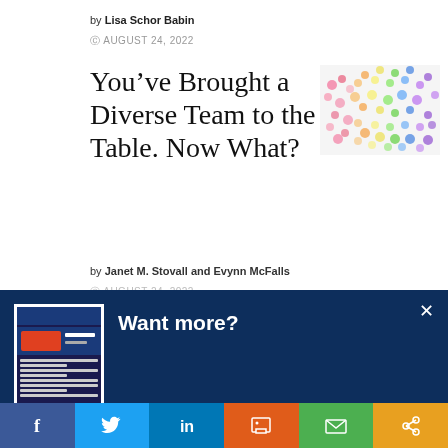by Lisa Schor Babin
AUGUST 24, 2022
You've Brought a Diverse Team to the Table. Now What?
[Figure (illustration): Colorful dots arranged in a rainbow gradient pattern]
by Janet M. Stovall and Evynn McFalls
AUGUST 24, 2022
[Figure (screenshot): Modal popup with dark blue background titled 'Want more?' showing a newsletter thumbnail. Text reads 'Get CCI's weekly round-up in your inbox. Unsubscribe anytime.' with a 'Let's do this!' button.]
f  Twitter  in  Print  Email  Share